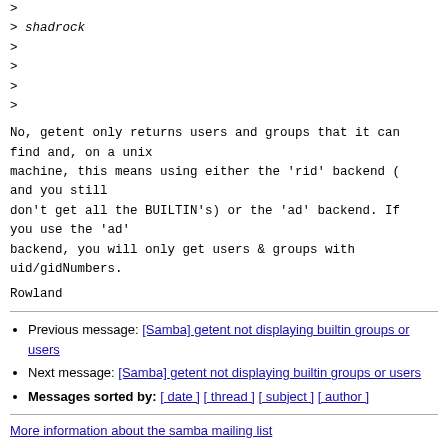>
> shadrock
>
>
>
>
No, getent only returns users and groups that it can find and, on a unix
machine, this means using either the 'rid' backend (
and you still
don't get all the BUILTIN's) or the 'ad' backend. If you use the 'ad'
backend, you will only get users & groups with uid/gidNumbers.
Rowland
Previous message: [Samba] getent not displaying builtin groups or users
Next message: [Samba] getent not displaying builtin groups or users
Messages sorted by: [ date ] [ thread ] [ subject ] [ author ]
More information about the samba mailing list